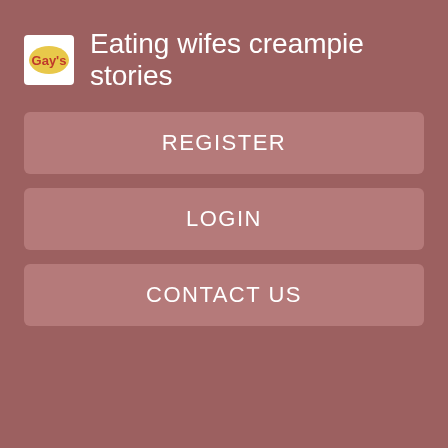Eating wifes creampie stories
REGISTER
LOGIN
CONTACT US
Then she offered me I could borrow that wonderful boyfriend just for a while and try some Nurse handjob stories action with him. I told Laura that we should arrange to go the movies with Ron on Saturday night, because I was home alone.
She agreed and said if I liked him I could invite him over to my place the next day.
He was my best friend...
On Whiteshadow nasty stories Saturday date, I wore a tight